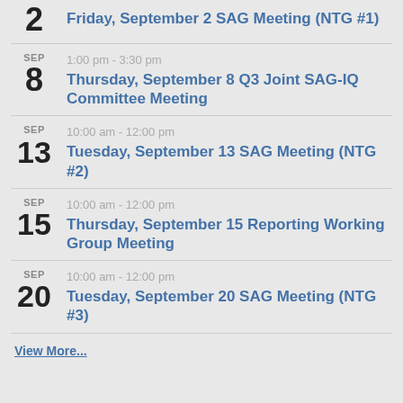2 Friday, September 2 SAG Meeting (NTG #1)
SEP 8 1:00 pm - 3:30 pm Thursday, September 8 Q3 Joint SAG-IQ Committee Meeting
SEP 13 10:00 am - 12:00 pm Tuesday, September 13 SAG Meeting (NTG #2)
SEP 15 10:00 am - 12:00 pm Thursday, September 15 Reporting Working Group Meeting
SEP 20 10:00 am - 12:00 pm Tuesday, September 20 SAG Meeting (NTG #3)
View More...